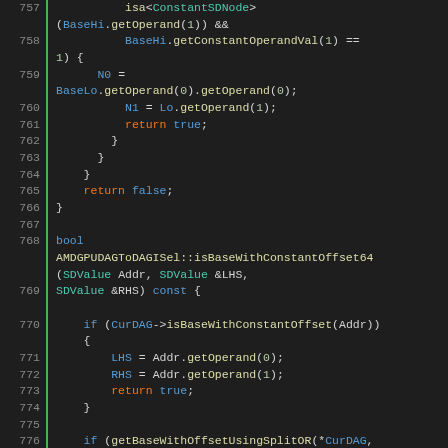Source code listing lines 757-781, C++ code for AMDGPUDAGToDAGISel::isBaseWithConstantOffset64